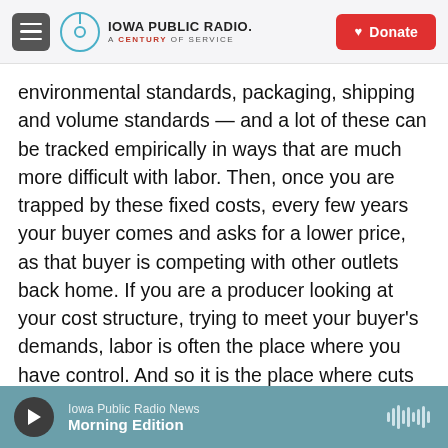Iowa Public Radio — A Century of Service | Donate
environmental standards, packaging, shipping and volume standards — and a lot of these can be tracked empirically in ways that are much more difficult with labor. Then, once you are trapped by these fixed costs, every few years your buyer comes and asks for a lower price, as that buyer is competing with other outlets back home. If you are a producer looking at your cost structure, trying to meet your buyer's demands, labor is often the place where you have control. And so it is the place where cuts occur.

The result, of course, when translated into human
Iowa Public Radio News — Morning Edition